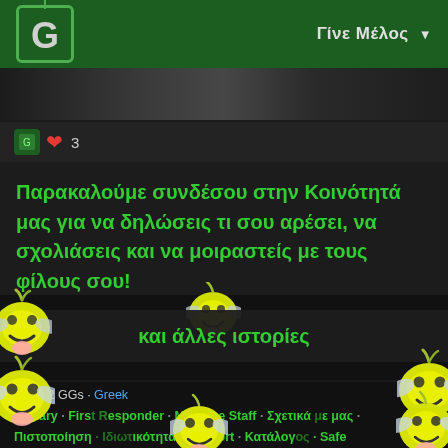Γίνε Μέλος
[Figure (screenshot): Dark video thumbnail strip]
Παρακαλούμε συνδέσου στην Κοινότητά μας για να δηλώσεις τι σου αρέσει, να σχολιάσεις και να μοιραστείς με τους φίλους σου!
και άλλες ιστορίες
© 2022 GGs · Greek · Military · First Responder · Meet the Staff · Σχετικά με μας · Πιστοποίηση · Ιδιωτικότητα · Support · Κατάλογος · Safe Space